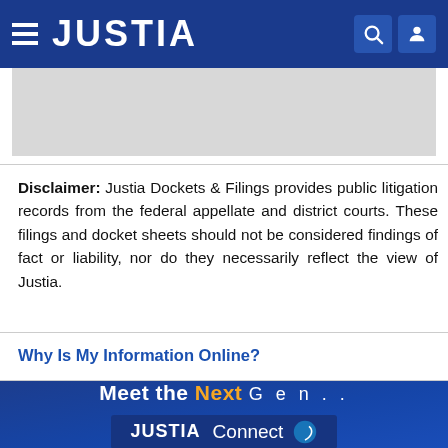JUSTIA
[Figure (other): Gray advertisement placeholder area]
Disclaimer: Justia Dockets & Filings provides public litigation records from the federal appellate and district courts. These filings and docket sheets should not be considered findings of fact or liability, nor do they necessarily reflect the view of Justia.
Why Is My Information Online?
[Figure (other): Blue promotional footer banner reading 'Meet the Next Gen...' and 'JUSTIA Connect']